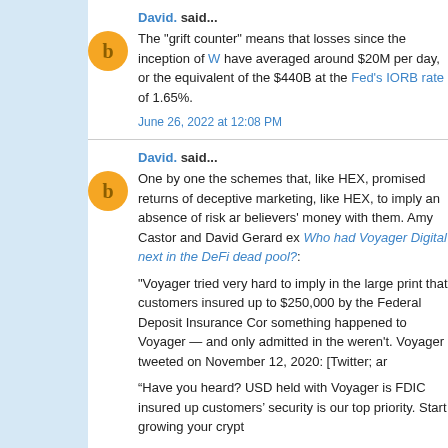David. said...
The "grift counter" means that losses since the inception of W have averaged around $20M per day, or the equivalent of the $440B at the Fed's IORB rate of 1.65%.
June 26, 2022 at 12:08 PM
David. said...
One by one the schemes that, like HEX, promised returns of deceptive marketing, like HEX, to imply an absence of risk and believers' money with them. Amy Castor and David Gerard ex Who had Voyager Digital next in the DeFi dead pool?:
"Voyager tried very hard to imply in the large print that customers were insured up to $250,000 by the Federal Deposit Insurance Corporation if something happened to Voyager — and only admitted in the small print they weren't. Voyager tweeted on November 12, 2020: [Twitter; ar
“Have you heard? USD held with Voyager is FDIC insured up to customers' security is our top priority. Start growing your crypto
But your dollars had already been converted into USDC. Voyager used your USDC, a liability to you, as collateral for loans it took out elsewhere. The agreement explicitly allows this: [Voyager, archive]"